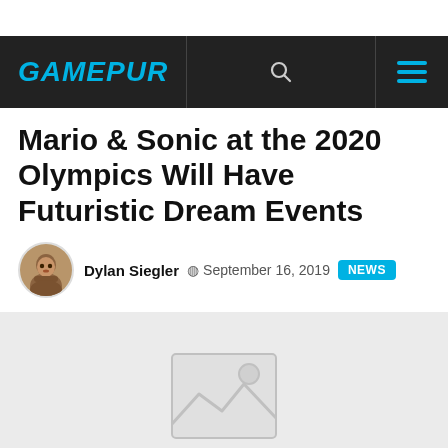GAMEPUR
Mario & Sonic at the 2020 Olympics Will Have Futuristic Dream Events
Dylan Siegler  September 16, 2019  NEWS
[Figure (photo): Image placeholder for article hero image, showing a broken image icon on a light gray background]